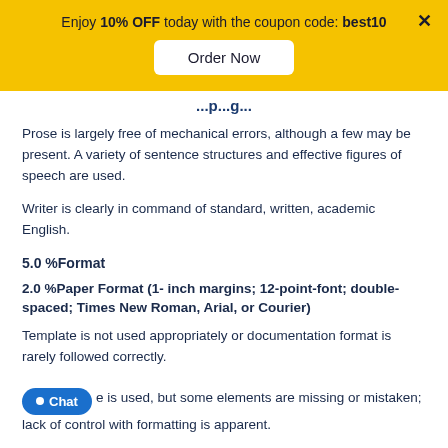Enjoy 10% OFF today with the coupon code: best10
Prose is largely free of mechanical errors, although a few may be present. A variety of sentence structures and effective figures of speech are used.
Writer is clearly in command of standard, written, academic English.
5.0 %Format
2.0 %Paper Format (1- inch margins; 12-point-font; double-spaced; Times New Roman, Arial, or Courier)
Template is not used appropriately or documentation format is rarely followed correctly.
e is used, but some elements are missing or mistaken; lack of control with formatting is apparent.